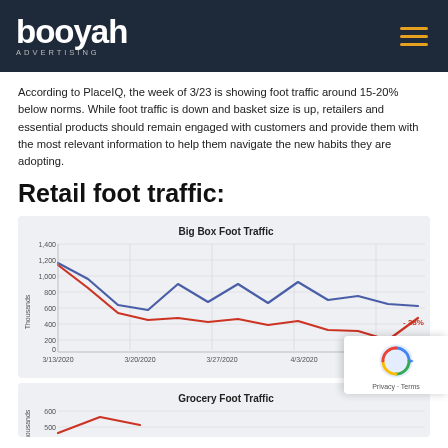booyah ADVERTISING
According to PlaceIQ, the week of 3/23 is showing foot traffic around 15-20% below norms. While foot traffic is down and basket size is up, retailers and essential products should remain engaged with customers and provide them with the most relevant information to help them navigate the new habits they are adopting.
Retail foot traffic:
[Figure (line-chart): Two-line chart showing Big Box Foot Traffic from 3/13/2020 to beyond 4/3/2020. Blue line (prior year) higher around 800-1200 range, red line (current year) lower around 500-700 range. Annotations show -29% and -38%.]
[Figure (line-chart): Partially visible line chart showing Grocery Foot Traffic, y-axis shows 500-600 range in Thousands.]